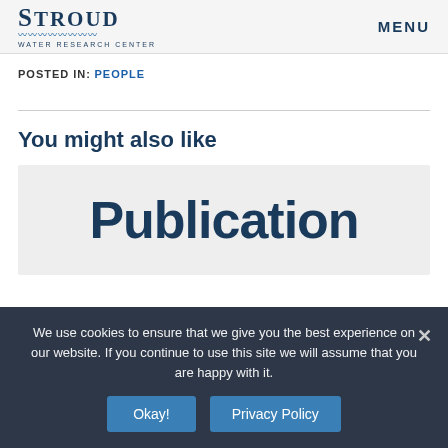STROUD Water Research Center — MENU
POSTED IN:  PEOPLE
You might also like
[Figure (other): Publication card placeholder image with large bold text reading 'Publication' on a light grey background]
We use cookies to ensure that we give you the best experience on our website. If you continue to use this site we will assume that you are happy with it.